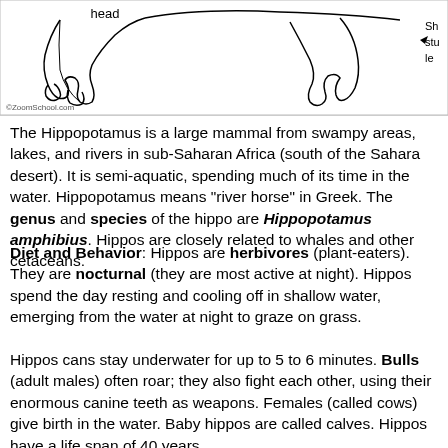[Figure (illustration): Diagram of a hippopotamus viewed from below/side, showing 'head' label on the left, 'Pink belly' label in the center, and partially visible label on the right (Shu... stu... le...). ©ZoomSchool.com watermark at bottom left.]
The Hippopotamus is a large mammal from swampy areas, lakes, and rivers in sub-Saharan Africa (south of the Sahara desert). It is semi-aquatic, spending much of its time in the water. Hippopotamus means "river horse" in Greek. The genus and species of the hippo are Hippopotamus amphibius. Hippos are closely related to whales and other cetaceans.
Diet and Behavior: Hippos are herbivores (plant-eaters). They are nocturnal (they are most active at night). Hippos spend the day resting and cooling off in shallow water, emerging from the water at night to graze on grass.
Hippos cans stay underwater for up to 5 to 6 minutes. Bulls (adult males) often roar; they also fight each other, using their enormous canine teeth as weapons. Females (called cows) give birth in the water. Baby hippos are called calves. Hippos have a life span of 40 years.